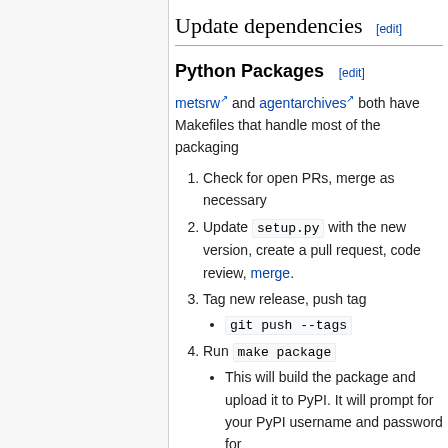Update dependencies [edit]
Python Packages [edit]
metsrw and agentarchives both have Makefiles that handle most of the packaging
Check for open PRs, merge as necessary
Update setup.py with the new version, create a pull request, code review, merge.
Tag new release, push tag
git push --tags
Run make package
This will build the package and upload it to PyPI. It will prompt for your PyPI username and password for